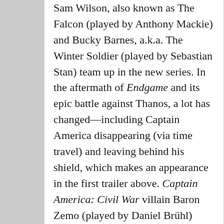Sam Wilson, also known as The Falcon (played by Anthony Mackie) and Bucky Barnes, a.k.a. The Winter Soldier (played by Sebastian Stan) team up in the new series. In the aftermath of Endgame and its epic battle against Thanos, a lot has changed—including Captain America disappearing (via time travel) and leaving behind his shield, which makes an appearance in the first trailer above. Captain America: Civil War villain Baron Zemo (played by Daniel Brühl) returns in the new series alongside Wyatt Russell as John Walker and Emily VanCamp